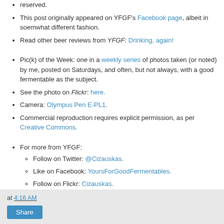reserved.
This post originally appeared on YFGF's Facebook page, albeit in soemwhat different fashion.
Read other beer reviews from YFGF: Drinking, again!
Pic(k) of the Week: one in a weekly series of photos taken (or noted) by me, posted on Saturdays, and often, but not always, with a good fermentable as the subject.
See the photo on Flickr: here.
Camera: Olympus Pen E-PL1.
Commercial reproduction requires explicit permission, as per Creative Commons.
For more from YFGF:
Follow on Twitter: @Cizauskas.
Like on Facebook: YoursForGoodFermentables.
Follow on Flickr: Cizauskas.
Follow on Instagram: @tcizauskas.
at 4:16 AM  Share